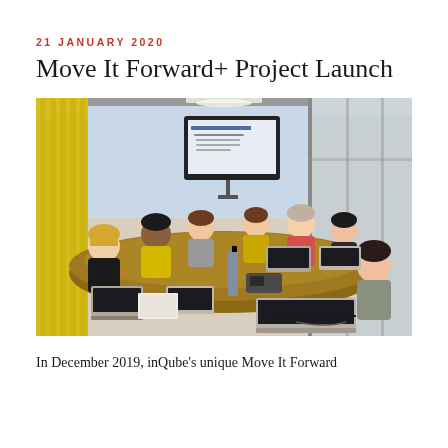21 JANUARY 2020
Move It Forward+ Project Launch
[Figure (photo): Group of people (approximately 8) seated around a large conference table with laptops, working together. A presentation screen is visible in the background. The setting is a modern office meeting room with yellow curtains and glass walls.]
In December 2019, inQube's unique Move It Forward